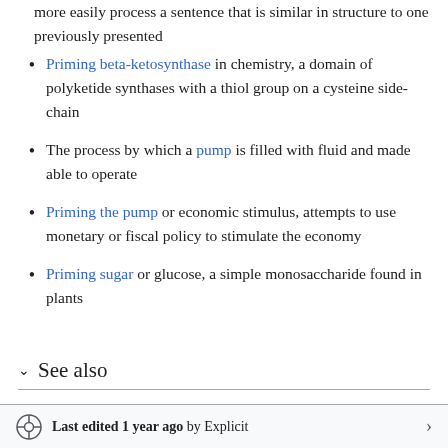more easily process a sentence that is similar in structure to one previously presented
Priming beta-ketosynthase in chemistry, a domain of polyketide synthases with a thiol group on a cysteine side-chain
The process by which a pump is filled with fluid and made able to operate
Priming the pump or economic stimulus, attempts to use monetary or fiscal policy to stimulate the economy
Priming sugar or glucose, a simple monosaccharide found in plants
See also
Last edited 1 year ago by Explicit